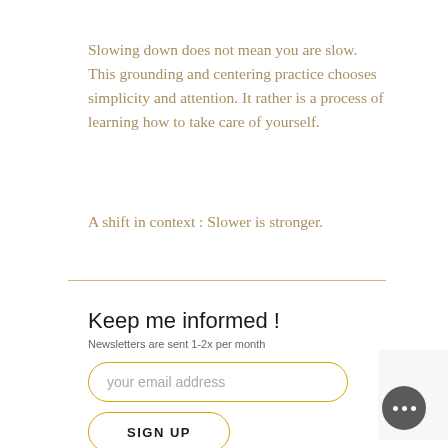Slowing down does not mean you are slow. This grounding and centering practice chooses simplicity and attention. It rather is a process of learning how to take care of yourself.
A shift in context : Slower is stronger.
Keep me informed !
Newsletters are sent 1-2x per month